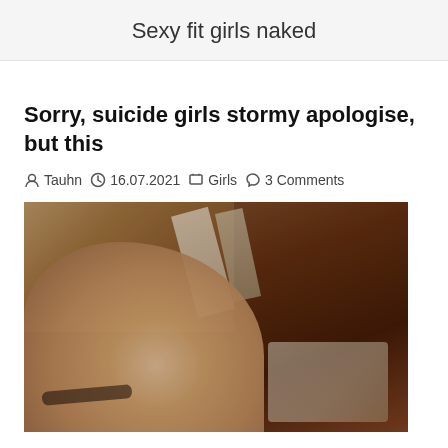Sexy fit girls naked
Sorry, suicide girls stormy apologise, but this
Tauhn  16.07.2021  Girls  3 Comments
[Figure (photo): A photo of a young woman lying down on a wooden surface, smiling, with dark eye makeup and a lip piercing. Magazines or books visible in the background.]